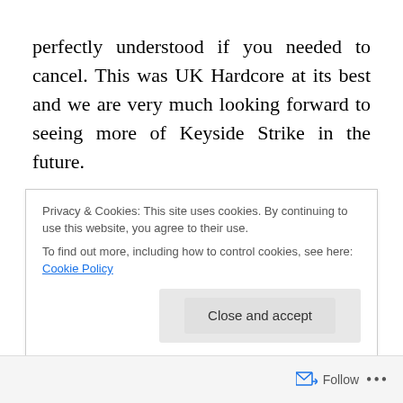perfectly understood if you needed to cancel. This was UK Hardcore at its best and we are very much looking forward to seeing more of Keyside Strike in the future.
Local stalwarts The Drastics took to the stage after a lengthy mid event break (I always like to give people chance to give their ears a rest and grab something to eat before the evening bands). Despite Jennie, the bassist being under the weather, they played what was probably the best I have seen them play yet. I have booked this band many times, often putting them on an early slot in the
Privacy & Cookies: This site uses cookies. By continuing to use this website, you agree to their use.
To find out more, including how to control cookies, see here: Cookie Policy
Follow ···